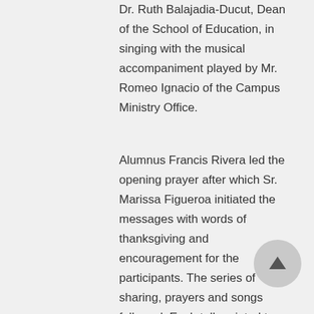Dr. Ruth Balajadia-Ducut, Dean of the School of Education, in singing with the musical accompaniment played by Mr. Romeo Ignacio of the Campus Ministry Office.
Alumnus Francis Rivera led the opening prayer after which Sr. Marissa Figueroa initiated the messages with words of thanksgiving and encouragement for the participants. The series of sharing, prayers and songs followed. Each talk pointed to the love of God, complemented by the prayers and songs. Three representatives from the participants namely, Ricardo Constantino, Elorde Vital and Edgardo Santiago shared their reflection and touching experiences. As a concluding part of the activity, images of St. Joseph donated by the alumni where given to each of the participants.